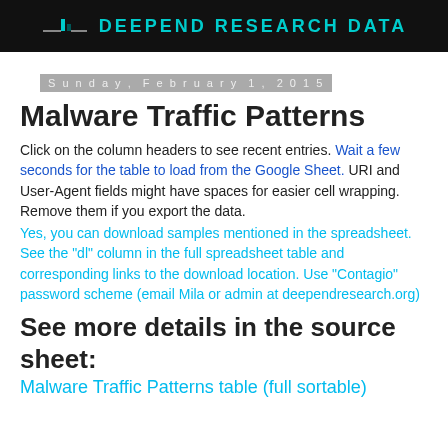DEEPEND RESEARCH DATA
Sunday, February 1, 2015
Malware Traffic Patterns
Click on the column headers to see recent entries. Wait a few seconds for the table to load from the Google Sheet. URI and User-Agent fields might have spaces for easier cell wrapping. Remove them if you export the data.
Yes, you can download samples mentioned in the spreadsheet. See the "dl" column in the full spreadsheet table and corresponding links to the download location. Use "Contagio" password scheme (email Mila or admin at deependresearch.org)
See more details in the source sheet:
Malware Traffic Patterns table (full sortable)